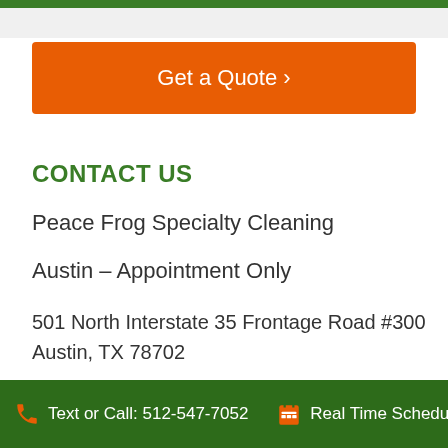[Figure (other): Orange button with text 'Get a Quote ›']
CONTACT US
Peace Frog Specialty Cleaning
Austin – Appointment Only
501 North Interstate 35 Frontage Road #300
Austin, TX 78702
512-259-6606
Text or Call: 512-547-7052    Real Time Scheduling